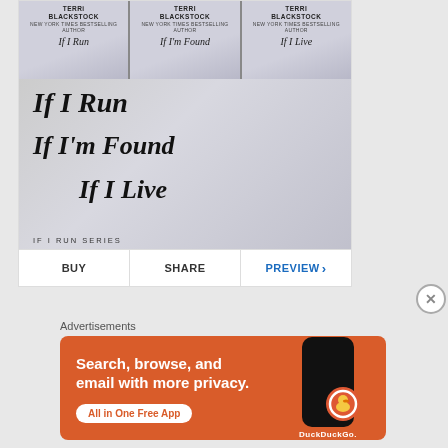[Figure (illustration): Book covers and series banner for Terri Blackstock's 'If I Run Series' showing three book covers (If I Run, If I'm Found, If I Live) and a stylized series banner with handwritten-style titles on a rainy window background]
BUY | SHARE | PREVIEW >
Advertisements
[Figure (infographic): DuckDuckGo advertisement: 'Search, browse, and email with more privacy. All in One Free App' with a phone mockup and DuckDuckGo logo on an orange background]